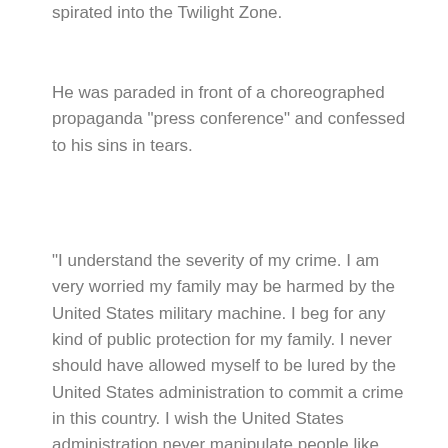spirated into the Twilight Zone.
He was paraded in front of a choreographed propaganda "press conference" and confessed to his sins in tears.
"I understand the severity of my crime. I am very worried my family may be harmed by the United States military machine. I beg for any kind of public protection for my family. I never should have allowed myself to be lured by the United States administration to commit a crime in this country. I wish the United States administration never manipulate people like